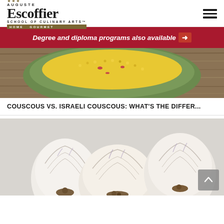[Figure (logo): Auguste Escoffier School of Culinary Arts - Home Gourmet logo with crown icon, hamburger menu icon top right]
Degree and diploma programs also available →
[Figure (photo): Top-down photo of a green bowl filled with yellow couscous and red onion on a wooden surface]
COUSCOUS VS. ISRAELI COUSCOUS: WHAT'S THE DIFFER...
[Figure (photo): Close-up photo of several garlic bulbs on a wooden cutting board with a light background]